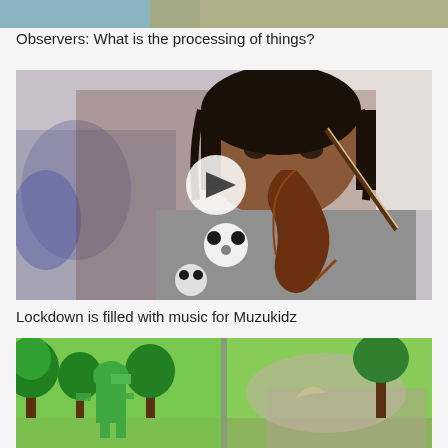[Figure (photo): Partial top image showing people, cropped at top of frame]
Observers: What is the processing of things?
[Figure (photo): A young girl wearing a panda-print grey sweatshirt playing violin, with a circular play button overlay indicating this is a video thumbnail. Background shows colorful artwork on the wall.]
Lockdown is filled with music for Muzukidz
[Figure (photo): Animated or illustrated scene with green trees and a dinosaur (T-Rex) figure in a jungle/forest environment with rocks and hills. Appears to be a video thumbnail with a dividing line in the middle.]